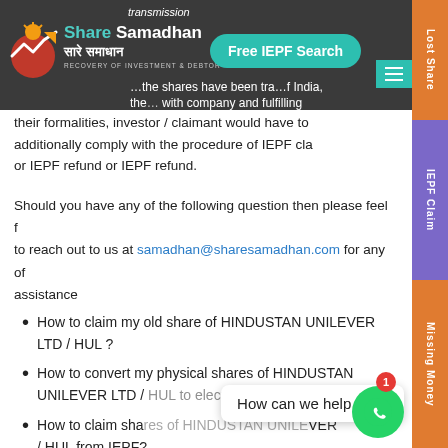Share Samadhan — Free IEPF Search — RECOVERY OF INVESTMENT & DEBTOR
transmission ... the shares have been transmitted by the President of India, then apart from complying with company and fulfilling their formalities, investor / claimant would have to additionally comply with the procedure of IEPF claim or IEPF refund or IEPF refund.
Should you have any of the following question then please feel free to reach out to us at samadhan@sharesamadhan.com for any of your assistance
How to claim my old share of HINDUSTAN UNILEVER LTD / HUL ?
How to convert my physical shares of HINDUSTAN UNILEVER LTD / HUL to electronic?
How to claim shares of HINDUSTAN UNILEVER LTD / HUL from IEPF?